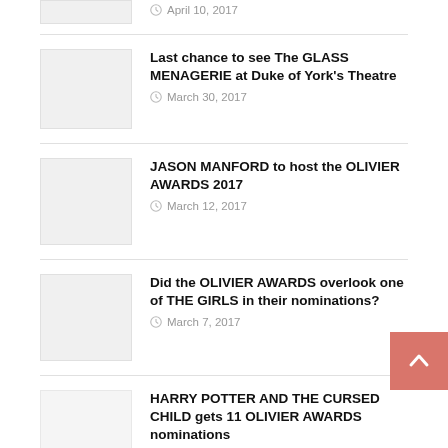April 10, 2017
Last chance to see The GLASS MENAGERIE at Duke of York's Theatre — March 30, 2017
JASON MANFORD to host the OLIVIER AWARDS 2017 — March 12, 2017
Did the OLIVIER AWARDS overlook one of THE GIRLS in their nominations? — March 7, 2017
HARRY POTTER AND THE CURSED CHILD gets 11 OLIVIER AWARDS nominations — March 6, 2017